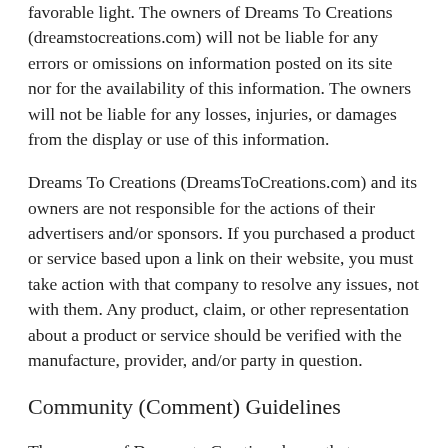favorable light. The owners of Dreams To Creations (dreamstocreations.com) will not be liable for any errors or omissions on information posted on its site nor for the availability of this information. The owners will not be liable for any losses, injuries, or damages from the display or use of this information.
Dreams To Creations (DreamsToCreations.com) and its owners are not responsible for the actions of their advertisers and/or sponsors. If you purchased a product or service based upon a link on their website, you must take action with that company to resolve any issues, not with them. Any product, claim, or other representation about a product or service should be verified with the manufacture, provider, and/or party in question.
Community (Comment) Guidelines
The owners of Dreams to Creations know that commenting is a way to connect. We comment to learn from others and we comment to share our opinions. Readers of Dreams to Creations are encouraged to comment on the site and may do so under their own name or a nickname. Any and everyone